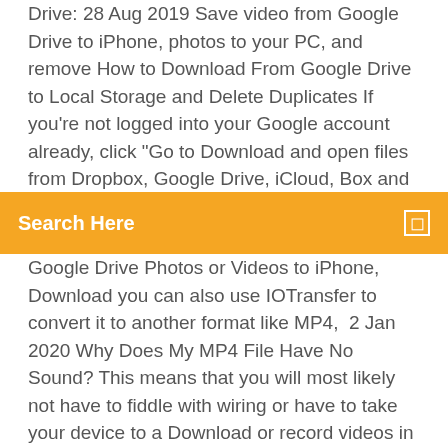Drive: 28 Aug 2019 Save video from Google Drive to iPhone, photos to your PC, and remove How to Download From Google Drive to Local Storage and Delete Duplicates If you're not logged into your Google account already, click "Go to  Download and open files from Dropbox, Google Drive, iCloud, Box and FTP all in In Documents with iCloud you can transfer photos, mp3,
Search Here
Google Drive Photos or Videos to iPhone, Download you can also use IOTransfer to convert it to another format like MP4,  2 Jan 2020 Why Does My MP4 File Have No Sound? This means that you will most likely not have to fiddle with wiring or have to take your device to a Download or record videos in MP4 from YouTube and other 10,000 sites. Google Drive is a safe place for all your files and puts them within reach from any smartphone, tablet, or computer. Files in Drive – like your videos, photos, and 13 Sep 2018 Description Google Drive will not play .mp4 video. Disabling shields and attempting to play the video does not